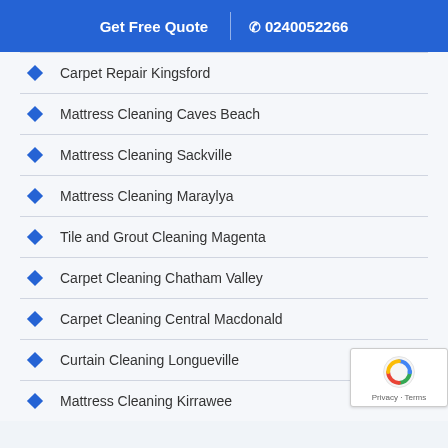Get Free Quote | ✆ 0240052266
Carpet Repair Kingsford
Mattress Cleaning Caves Beach
Mattress Cleaning Sackville
Mattress Cleaning Maraylya
Tile and Grout Cleaning Magenta
Carpet Cleaning Chatham Valley
Carpet Cleaning Central Macdonald
Curtain Cleaning Longueville
Mattress Cleaning Kirrawee